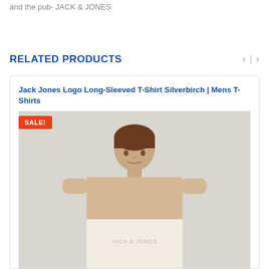and the pub- JACK & JONES
RELATED PRODUCTS
Jack Jones Logo Long-Sleeved T-Shirt Silverbirch | Mens T-Shirts
[Figure (photo): Man wearing a beige/cream color-block long-sleeved Jack & Jones t-shirt with SALE! badge overlay]